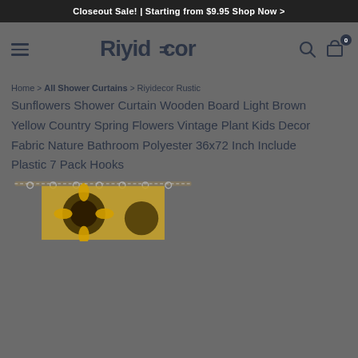Closeout Sale! | Starting from $9.95 Shop Now >
[Figure (logo): Riyidecor logo with hamburger menu, search icon, and cart icon with badge 0]
Home > All Shower Curtains > Riyidecor Rustic Sunflowers Shower Curtain Wooden Board Light Brown Yellow Country Spring Flowers Vintage Plant Kids Decor Fabric Nature Bathroom Polyester 36x72 Inch Include Plastic 7 Pack Hooks
[Figure (photo): Product image of Riyidecor Rustic Sunflowers Shower Curtain showing sunflower pattern with curtain hooks at the top]